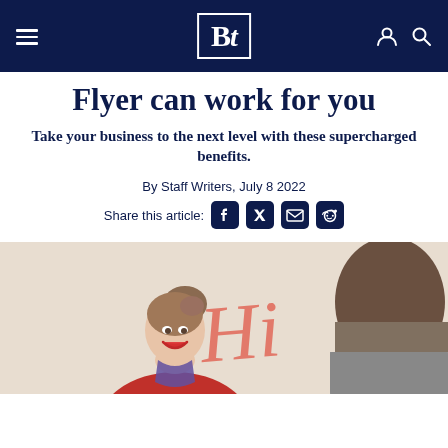Bt (logo) — navigation bar with hamburger menu, logo, user and search icons
Flyer can work for you
Take your business to the next level with these supercharged benefits.
By Staff Writers, July 8 2022
Share this article:
[Figure (photo): A smiling female flight attendant in a red jacket and silk scarf, facing a passenger (seen from behind) with a stylized 'Hi' logo in the background — likely a Virgin Australia or similar airline setting.]